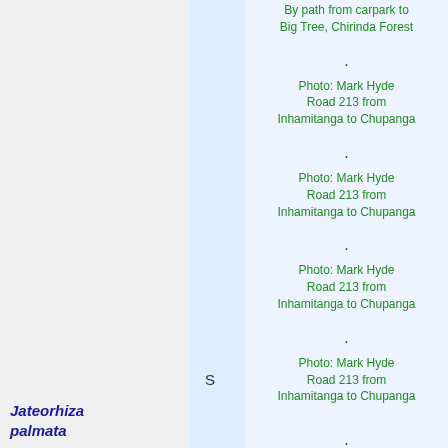By path from carpark to Big Tree, Chirinda Forest
Photo: Mark Hyde
Road 213 from Inhamitanga to Chupanga
Photo: Mark Hyde
Road 213 from Inhamitanga to Chupanga
Photo: Mark Hyde
Road 213 from Inhamitanga to Chupanga
Photo: Mark Hyde
Road 213 from Inhamitanga to Chupanga
S
Jateorhiza palmata
Photo: Bart Wursten